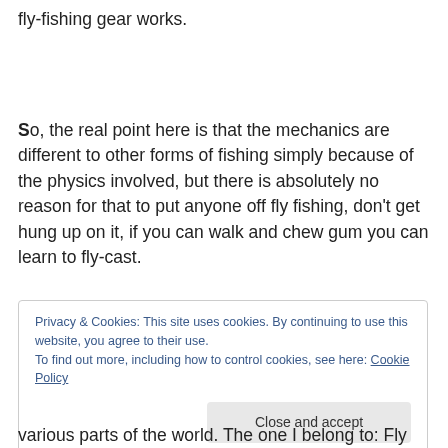fly-fishing gear works.
So, the real point here is that the mechanics are different to other forms of fishing simply because of the physics involved, but there is absolutely no reason for that to put anyone off fly fishing, don't get hung up on it, if you can walk and chew gum you can learn to fly-cast.
Privacy & Cookies: This site uses cookies. By continuing to use this website, you agree to their use.
To find out more, including how to control cookies, see here: Cookie Policy
Close and accept
various parts of the world. The one I belong to: Fly